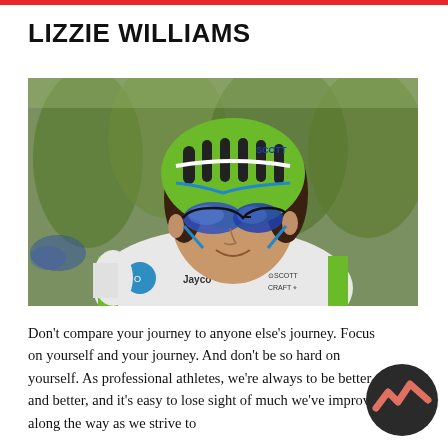LIZZIE WILLIAMS
[Figure (photo): Female cyclist Lizzie Williams wearing green and white Orica-AIS team jersey with Jayco, Scott, and Craft sponsorship logos, blue-mirrored cycling sunglasses, and a green Scott cycling helmet, smiling during a race. Blurred outdoor background.]
Don't compare your journey to anyone else's journey. Focus on yourself and your journey. And don't be so hard on yourself. As professional athletes, we're always trying to be better and better, and it's easy to lose sight of how much we've improved along the way as we strive to
[Figure (logo): Dark circular logo with zigzag/mountain-peak graphic in coral/salmon color, overlaid on the bottom-right corner of the page.]